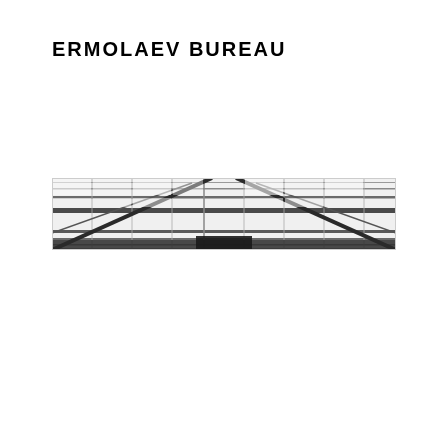ERMOLAEV BUREAU
[Figure (photo): Wide panoramic photograph of an industrial greenhouse or warehouse interior ceiling, showing a grid of glass or polycarbonate panels supported by a metal framework of diagonal and horizontal beams, in black and white tones.]